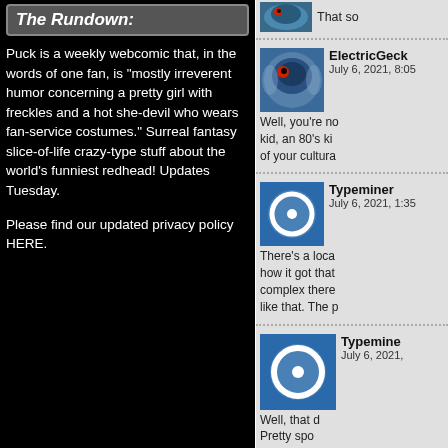The Rundown:
Puck is a weekly webcomic that, in the words of one fan, is "mostly irreverent humor concerning a pretty girl with freckles and a hot she-devil who wears fan-service costumes." Surreal fantasy slice-of-life crazy-type stuff about the world's funniest redhead! Updates Tuesday.
Please find our updated privacy policy HERE.
That so
ElectricGeck
July 6, 2021, 8:05
Well, you're no kid, an 80's ki of your cultura
Typeminer
July 6, 2021, 1:35
There's a loca how it got that complex there like that. The p
Typemine
July 6, 2021,
Well, that d Pretty spo
Anyhow, I' thing for m
ElectricGe
July 6, 2021,